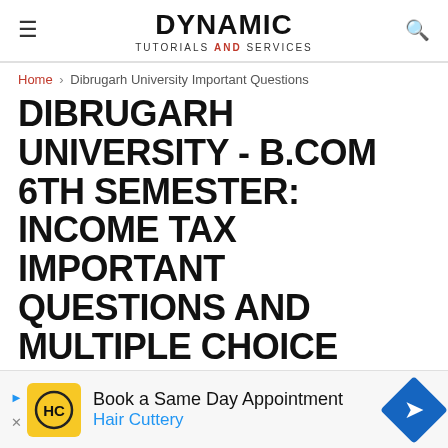DYNAMIC TUTORIALS AND SERVICES
Home > Dibrugarh University Important Questions
DIBRUGARH UNIVERSITY - B.COM 6TH SEMESTER: INCOME TAX IMPORTANT QUESTIONS AND MULTIPLE CHOICE QUESTIONS AND ANSWERS
[Figure (infographic): Advertisement banner: Book a Same Day Appointment - Hair Cuttery, with yellow HC logo and blue navigation arrow icon]